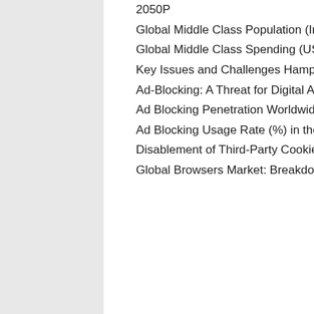2050P
Global Middle Class Population (In Million) by Region for the Years 2020, 2025 and 2030
Global Middle Class Spending (US$ Trillion) by Region for the Years 2020, 2025, 2030
Key Issues and Challenges Hampering Prospects for Digital Advertising
Ad-Blocking: A Threat for Digital Advertising Revenues
Ad Blocking Penetration Worldwide: Usage Rate of Ad Blockers by Country for 2020
Ad Blocking Usage Rate (%) in the US for 2014-2020
Disablement of Third-Party Cookies: Potential Implications for Advertisers and Publishers
Global Browsers Market: Breakdown of User Base by Browser for